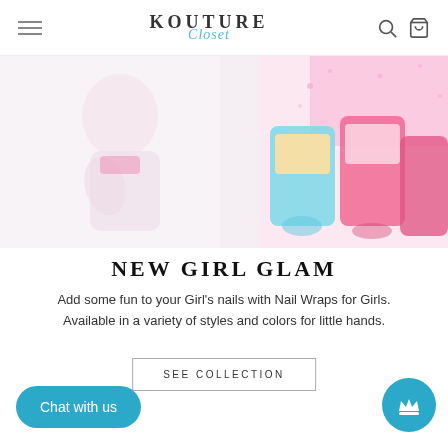KOUTURE Closet — navigation bar with hamburger menu, logo, search and cart icons
[Figure (photo): Hero image showing a girl with pink nail wraps sitting next to nail wrap product packages with colorful designs on a pink/white background]
NEW GIRL GLAM
Add some fun to your Girl's nails with Nail Wraps for Girls. Available in a variety of styles and colors for little hands.
SEE COLLECTION
Chat with us